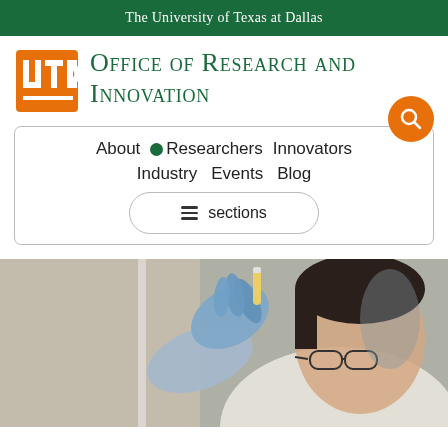The University of Texas at Dallas
[Figure (logo): UTD orange block letter logo]
Office of Research and Innovation
About • Researchers Innovators Industry Events Blog
≡ sections
[Figure (photo): A researcher wearing blue latex gloves holds up a small vial or sample, examining it closely. The person wears glasses and is in a laboratory setting.]